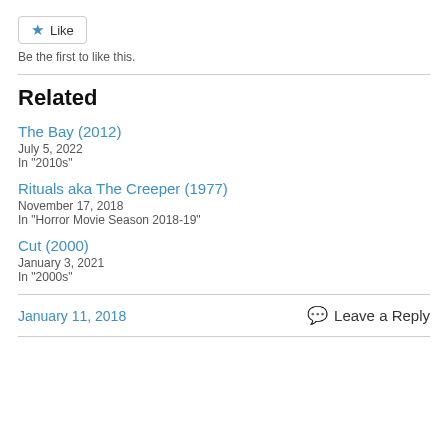Like
Be the first to like this.
Related
The Bay (2012)
July 5, 2022
In "2010s"
Rituals aka The Creeper (1977)
November 17, 2018
In "Horror Movie Season 2018-19"
Cut (2000)
January 3, 2021
In "2000s"
January 11, 2018
Leave a Reply